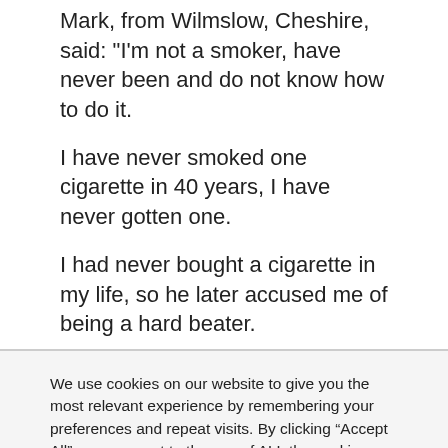Mark, from Wilmslow, Cheshire, said: "I'm not a smoker, have never been and do not know how to do it.
I have never smoked one cigarette in 40 years, I have never gotten one.
I had never bought a cigarette in my life, so he later accused me of being a hard beater.
We use cookies on our website to give you the most relevant experience by remembering your preferences and repeat visits. By clicking “Accept All”, you consent to the use of ALL the cookies. However, you may visit "Cookie Settings" to provide a controlled consent.